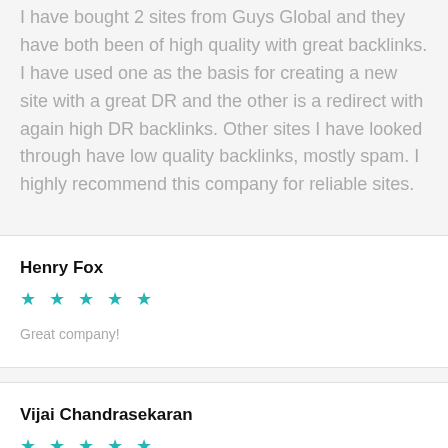I have bought 2 sites from Guys Global and they have both been of high quality with great backlinks. I have used one as the basis for creating a new site with a great DR and the other is a redirect with again high DR backlinks. Other sites I have looked through have low quality backlinks, mostly spam. I highly recommend this company for reliable sites.
Henry Fox
★ ★ ★ ★ ★
Great company!
Vijai Chandrasekaran
★ ★ ★ ★ ★